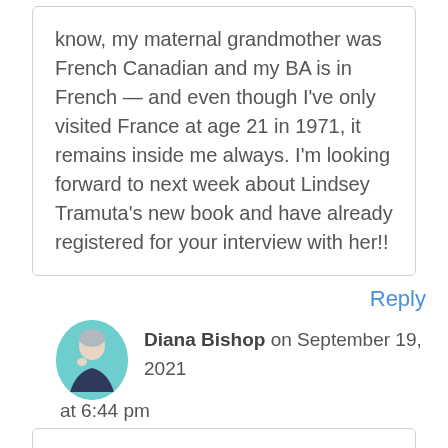know, my maternal grandmother was French Canadian and my BA is in French — and even though I've only visited France at age 21 in 1971, it remains inside me always. I'm looking forward to next week about Lindsey Tramuta's new book and have already registered for your interview with her!!
Reply
Diana Bishop on September 19, 2021 at 6:44 pm
You are so right! I am so glad you will be joining us for the interview. I am